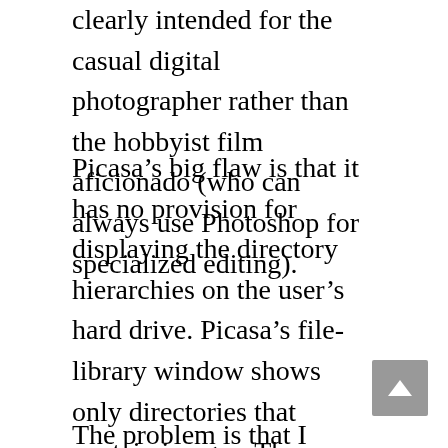clearly intended for the casual digital photographer rather than the hobbyist film aficionado (who can always use Photoshop for specialized editing).
Picasa's big flaw is that it has no provision for displaying the directory hierarchies on the user's hard drive. Picasa's file-library window shows only directories that contain images. The apparent idea is that the user will search for images by date, tag or label, so who needs hierarchy. Or maybe Google expects everyone to keep his images in the Windows-default “My Photos” or “My Pictures” directory. Or perhaps it’s a carryover from some Mac-centric view of things that has contempt for Windows-style directories (Picasa seems designed to compete with Apple’s iPhoto).
The problem is that I already have my own date-